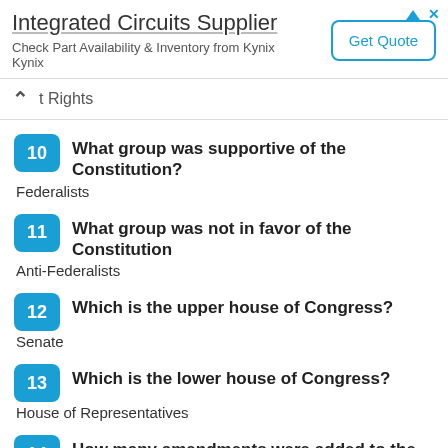[Figure (other): Advertisement banner for Integrated Circuits Supplier by Kynix with a Get Quote button]
t Rights
10 What group was supportive of the Constitution?
Federalists
11 What group was not in favor of the Constitution
Anti-Federalists
12 Which is the upper house of Congress?
Senate
13 Which is the lower house of Congress?
House of Representatives
14 How many amendments were added to the